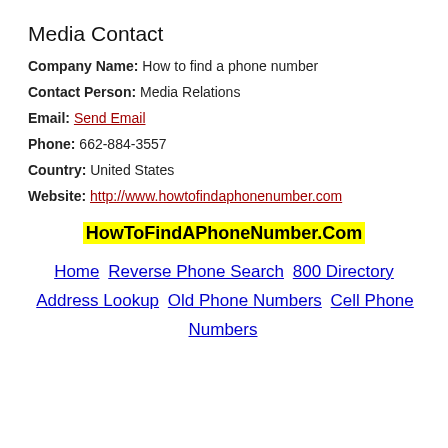Media Contact
Company Name: How to find a phone number
Contact Person: Media Relations
Email: Send Email
Phone: 662-884-3557
Country: United States
Website: http://www.howtofindaphonenumber.com
HowToFindAPhoneNumber.Com
Home  Reverse Phone Search  800 Directory  Address Lookup  Old Phone Numbers  Cell Phone Numbers